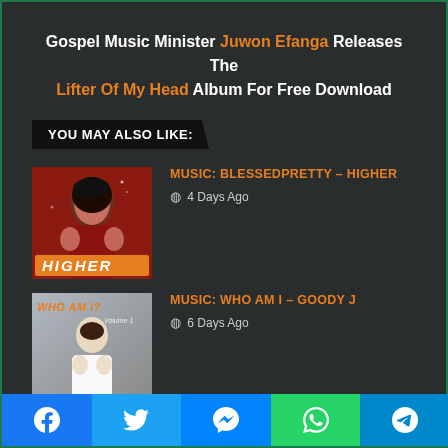Gospel Music Minister Juwon Efanga Releases The Lifter Of My Head Album For Free Download
YOU MAY ALSO LIKE:
[Figure (photo): Album cover for HIGHER by BlessedPretty - red background with woman's face, orange HIGHER label at bottom]
MUSIC: BLESSEDPRETTY – HIGHER
4 Days Ago
[Figure (photo): Album cover for WHO AM I by Goody J - grey/white background with man in white outfit]
MUSIC: WHO AM I – GOODY J
6 Days Ago